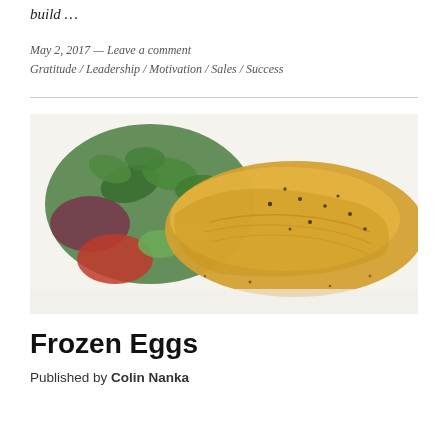build …
May 2, 2017 — Leave a comment
Gratitude / Leadership / Motivation / Sales / Success
[Figure (photo): Photo of a folded omelette with black pepper on a white plate, accompanied by a green salad with tomatoes, cucumber, and red onion.]
Frozen Eggs
Published by Colin Nanka